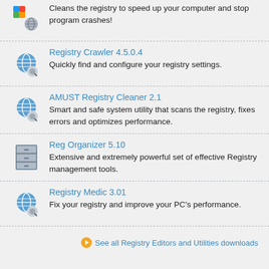Cleans the registry to speed up your computer and stop program crashes!
Registry Crawler 4.5.0.4 — Quickly find and configure your registry settings.
AMUST Registry Cleaner 2.1 — Smart and safe system utility that scans the registry, fixes errors and optimizes performance.
Reg Organizer 5.10 — Extensive and extremely powerful set of effective Registry management tools.
Registry Medic 3.01 — Fix your registry and improve your PC's performance.
See all Registry Editors and Utilities downloads